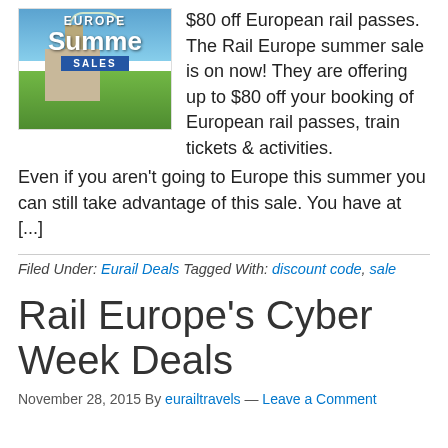[Figure (photo): Europe Summer Sales promotional image showing a castle and countryside with overlay text 'EUROPE Summer SALES']
$80 off European rail passes. The Rail Europe summer sale is on now! They are offering up to $80 off your booking of European rail passes, train tickets & activities. Even if you aren't going to Europe this summer you can still take advantage of this sale. You have at [...]
Filed Under: Eurail Deals Tagged With: discount code, sale
Rail Europe's Cyber Week Deals
November 28, 2015 By eurailtravels — Leave a Comment